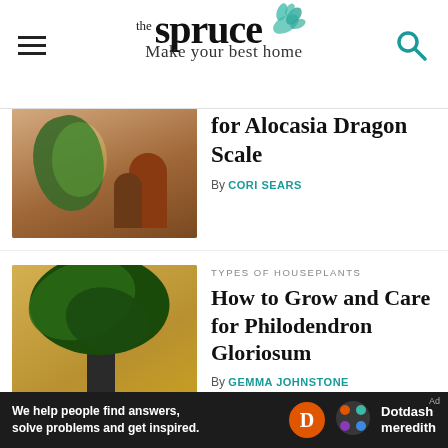the spruce — Make your best home
for Alocasia Dragon Scale
By CORI SEARS
[Figure (photo): Potted alocasia plant with terracotta and brown ceramic vases on a shelf]
TYPES OF HOUSEPLANTS
How to Grow and Care for Philodendron Gloriosum
By GEMMA JOHNSTONE
[Figure (photo): Philodendron gloriosum plant with large dark green heart-shaped leaves in a black pot against a tan wall]
PERENNIALS
Anthurium Is Fussy, but Worth the Effort
[Figure (photo): Red anthurium flowers with dark green leaves closeup]
Ad — We help people find answers, solve problems and get inspired. Dotdash meredith